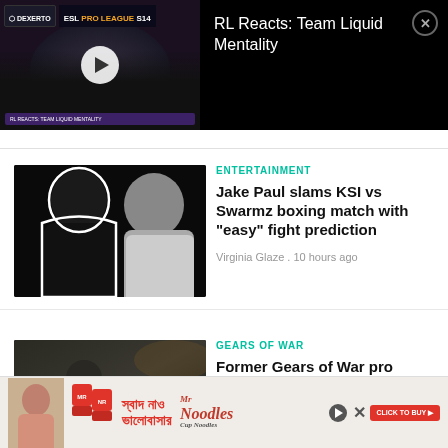[Figure (screenshot): Video thumbnail showing ESL Pro League S14 with a bearded man in dark clothing, play button overlay]
RL Reacts: Team Liquid Mentality
[Figure (photo): Two men posing, one Black man with dreadlocks on left, one white man in grey shirt on right, dark background]
ENTERTAINMENT
Jake Paul slams KSI vs Swarmz boxing match with “easy” fight prediction
Virginia Glaze . 10 hours ago
[Figure (photo): Action gaming/war scene with soldiers and equipment, dark cinematic style]
GEARS OF WAR
Former Gears of War pro player killed in Virginia
[Figure (advertisement): Mr. Noodles Cup Noodles advertisement with Bengali text, noodle cups, and woman]